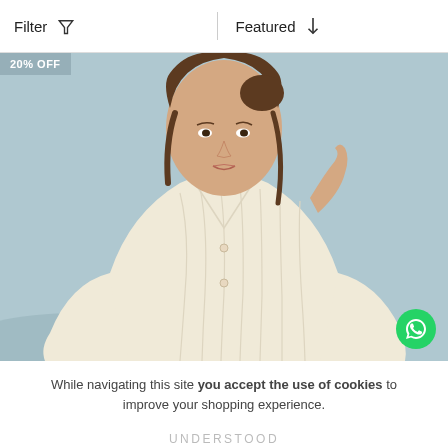Filter   Featured
[Figure (photo): Woman wearing a cream cable-knit V-neck cardigan against a light blue background, with a '20% OFF' badge in the top-left corner and a WhatsApp button in the bottom-right corner.]
While navigating this site you accept the use of cookies to improve your shopping experience.
UNDERSTOOD